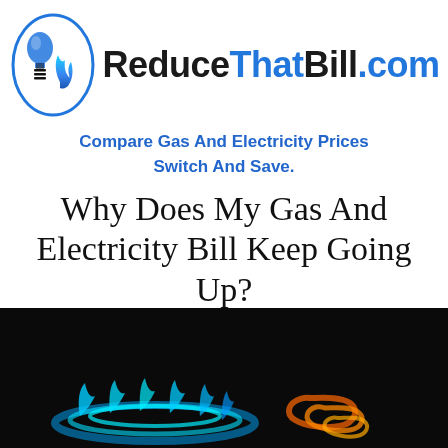[Figure (logo): ReduceThatBill.com logo with a light bulb and gas flame icon inside a blue oval, next to the text ReduceThatBill.com in black and blue]
Compare Gas And Electricity Prices Switch And Save.
Why Does My Gas And Electricity Bill Keep Going Up?
[Figure (photo): Dark background photo showing a blue gas flame ring on the left and orange/red electric coils on the right]